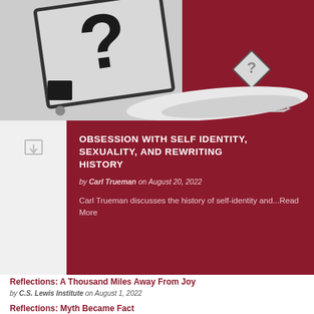[Figure (illustration): Illustration showing road signs with question marks against a dark red background, with what appears to be an airplane wing. Grey directional signs with bold question marks, one smaller diamond-shaped sign with a question mark on a post.]
OBSESSION WITH SELF IDENTITY, SEXUALITY, AND REWRITING HISTORY
by Carl Trueman on August 20, 2022
Carl Trueman discusses the history of self-identity and...Read More
Reflections: A Thousand Miles Away From Joy
by C.S. Lewis Institute on August 1, 2022
Reflections: Myth Became Fact